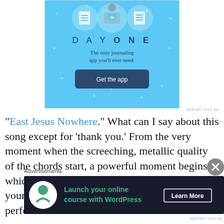[Figure (screenshot): Day One journaling app advertisement with light blue background, illustration of person holding phone with icons for notebook, person, and list at top. Text reads 'DAY ONE - The only journaling app you'll ever need.' with a dark button 'Get the app'.]
REPORT THIS AD
“East Jesus Nowhere.” What can I say about this song except for ‘thank you.’ From the very moment when the screeching, metallic quality of the chords start, a powerful moment begins which does not disappoint. The band finds a young, preferably innocent, child upon which to perform
Advertisements
[Figure (screenshot): Dark advertisement banner for WordPress online course. Shows a white tree/person icon on left, green text 'Launch your online course with WordPress', and white 'Learn More' button on right.]
REPORT THIS AD